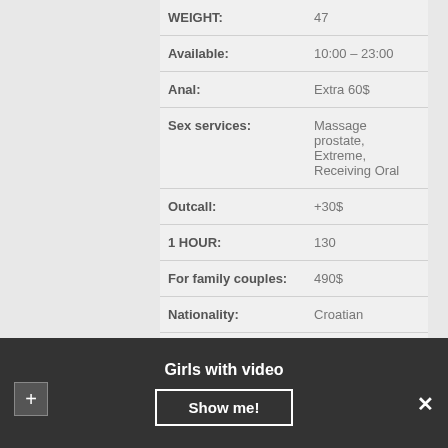| Field | Value |
| --- | --- |
| WEIGHT: | 47 |
| Available: | 10:00 – 23:00 |
| Anal: | Extra 60$ |
| Sex services: | Massage prostate, Extreme, Receiving Oral |
| Outcall: | +30$ |
| 1 HOUR: | 130 |
| For family couples: | 490$ |
| Nationality: | Croatian |
VIDEO
Girls with video   Show me!